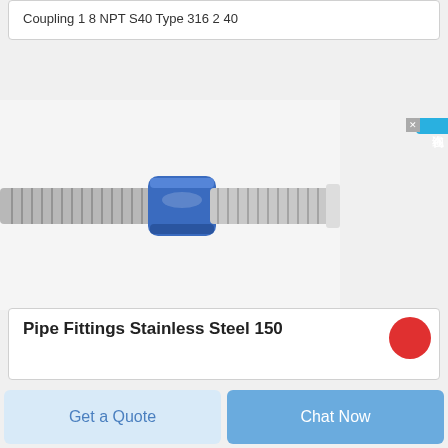Coupling 1 8 NPT S40 Type 316 2 40
[Figure (photo): Photo of a stainless steel flexible hose coupling with a blue cylindrical center fitting and threaded ends, shown horizontally. KELLI watermark visible in background.]
Pipe Fittings Stainless Steel 150
Get a Quote
Chat Now